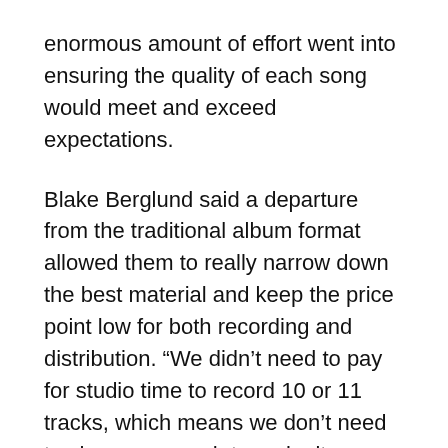enormous amount of effort went into ensuring the quality of each song would meet and exceed expectations.
Blake Berglund said a departure from the traditional album format allowed them to really narrow down the best material and keep the price point low for both recording and distribution. “We didn’t need to pay for studio time to record 10 or 11 tracks, which means we don’t need to charge as much to make it pay off,” Berglund said. “Financially this has been one of our most successful records.”
The vinyl is available for $10 and contains a code